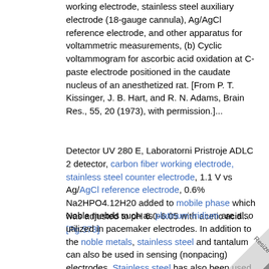working electrode, stainless steel auxiliary electrode (18-gauge cannula), Ag/AgCl reference electrode, and other apparatus for voltammetric measurements, (b) Cyclic voltammogram for ascorbic acid oxidation at C-paste electrode positioned in the caudate nucleus of an anesthetized rat. [From P. T. Kissinger, J. B. Hart, and R. N. Adams, Brain Res., 55, 20 (1973), with permission.]...
Detector UV 280 E, Laboratorni Pristroje ADLC 2 detector, carbon fiber working electrode, stainless steel counter electrode, 1.1 V vs Ag/AgCl reference electrode, 0.6% Na2HPO4.12H20 added to mobile phase which was adjusted to pH 6.0-6.05 with acetic acid...  [Pg.573]
Noble mebds such as platinum-iridium are also utilized in pacemaker electrodes. In addition to the noble metals, stainless steel and tantalum can also be used in sensing (nonpacing) electrodes. Stainless steel has also been used as wire braids and reinforcements in catheters, particularly in high-pressure catheters, such as those used for radiopaque dye injection.  [Pg.331]